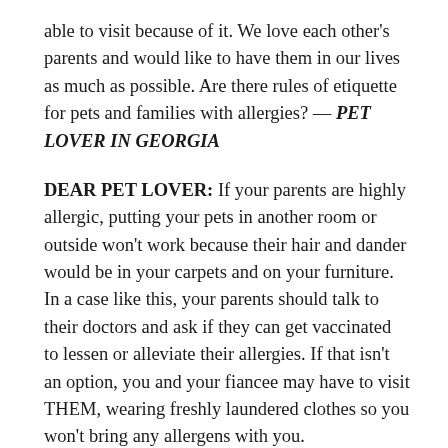able to visit because of it. We love each other's parents and would like to have them in our lives as much as possible. Are there rules of etiquette for pets and families with allergies? — PET LOVER IN GEORGIA
DEAR PET LOVER: If your parents are highly allergic, putting your pets in another room or outside won't work because their hair and dander would be in your carpets and on your furniture. In a case like this, your parents should talk to their doctors and ask if they can get vaccinated to lessen or alleviate their allergies. If that isn't an option, you and your fiancee may have to visit THEM, wearing freshly laundered clothes so you won't bring any allergens with you.
Dear Abby is written by Abigail Van Buren, also known